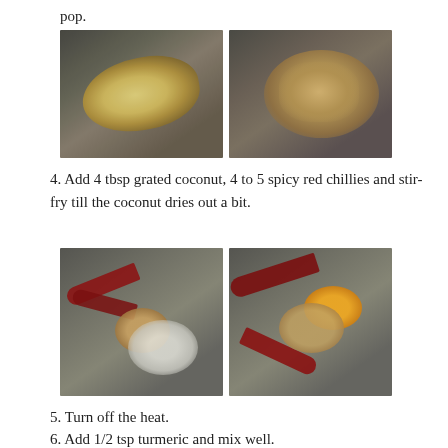pop.
[Figure (photo): Two side-by-side food photos: left shows sesame seeds on a metal pan, right shows peanuts on a metal pan.]
4. Add 4 tbsp grated coconut, 4 to 5 spicy red chillies and stir-fry till the coconut dries out a bit.
[Figure (photo): Two side-by-side food photos: left shows red chillies, peanuts and grated coconut in a pan, right shows red chillies, peanuts and turmeric in a pan.]
5. Turn off the heat.
6. Add 1/2 tsp turmeric and mix well.